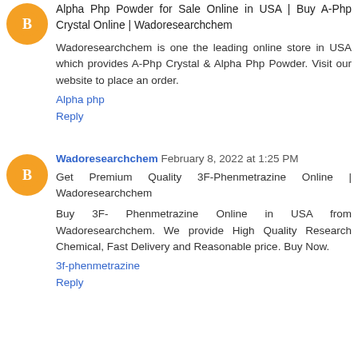[Figure (logo): Orange circular avatar with blogger 'B' icon]
Alpha Php Powder for Sale Online in USA | Buy A-Php Crystal Online | Wadoresearchchem
Wadoresearchchem is one the leading online store in USA which provides A-Php Crystal & Alpha Php Powder. Visit our website to place an order.
Alpha php
Reply
[Figure (logo): Orange circular avatar with blogger 'B' icon]
Wadoresearchchem February 8, 2022 at 1:25 PM
Get Premium Quality 3F-Phenmetrazine Online | Wadoresearchchem
Buy 3F- Phenmetrazine Online in USA from Wadoresearchchem. We provide High Quality Research Chemical, Fast Delivery and Reasonable price. Buy Now.
3f-phenmetrazine
Reply